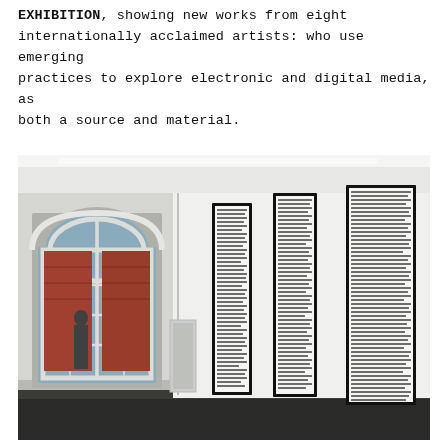EXHIBITION, showing new works from eight internationally acclaimed artists: who use emerging practices to explore electronic and digital media, as both a source and material.
[Figure (photo): Interior gallery room with white walls and dark floor. On the left is a tall arched window with white framing, showing a red brick building and a pedestrian outside. On the right wall hang three tall narrow vertical framed artworks displaying dense grid patterns of small images or text.]